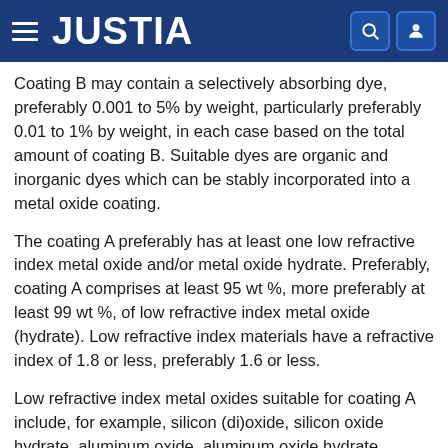JUSTIA
Coating B may contain a selectively absorbing dye, preferably 0.001 to 5% by weight, particularly preferably 0.01 to 1% by weight, in each case based on the total amount of coating B. Suitable dyes are organic and inorganic dyes which can be stably incorporated into a metal oxide coating.
The coating A preferably has at least one low refractive index metal oxide and/or metal oxide hydrate. Preferably, coating A comprises at least 95 wt %, more preferably at least 99 wt %, of low refractive index metal oxide (hydrate). Low refractive index materials have a refractive index of 1.8 or less, preferably 1.6 or less.
Low refractive index metal oxides suitable for coating A include, for example, silicon (di)oxide, silicon oxide hydrate, aluminum oxide, aluminum oxide hydrate,